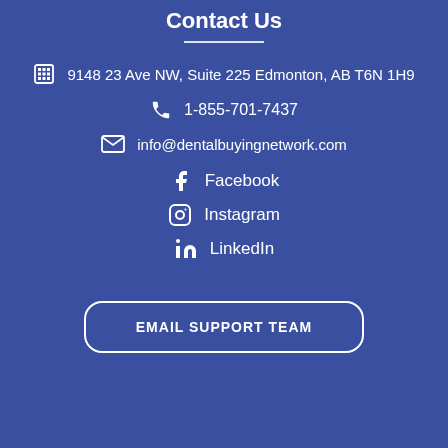Contact Us
🏢 9148 23 Ave NW, Suite 225 Edmonton, AB T6N 1H9
📞 1-855-701-7437
✉ info@dentalbuyingnetwork.com
Facebook
Instagram
LinkedIn
EMAIL SUPPORT TEAM